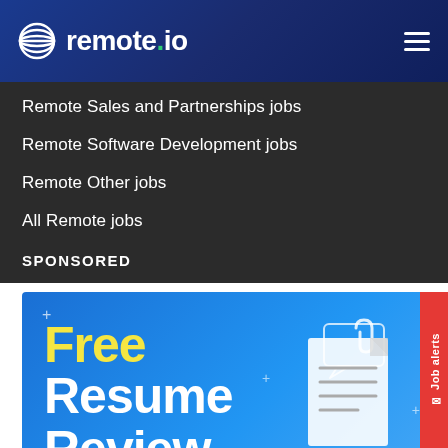remote.io
Remote Sales and Partnerships jobs
Remote Software Development jobs
Remote Other jobs
All Remote jobs
SPONSORED
[Figure (illustration): Sponsored ad banner with blue gradient background showing 'Free Resume Review' text in large bold font (Free in yellow, Resume Review in white), with decorative plus signs, a speech bubble outline, and a document/resume illustration on the right side.]